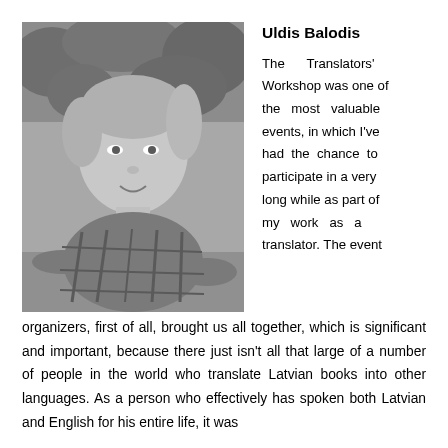[Figure (photo): Black and white photo of Uldis Balodis, a man with light hair wearing a plaid shirt, smiling, with outdoor foliage background]
Uldis Balodis
The Translators' Workshop was one of the most valuable events, in which I've had the chance to participate in a very long while as part of my work as a translator. The event organizers, first of all, brought us all together, which is significant and important, because there just isn't all that large of a number of people in the world who translate Latvian books into other languages. As a person who effectively has spoken both Latvian and English for his entire life, it was